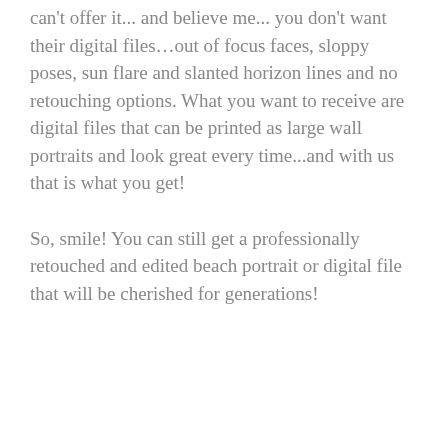can't offer it... and believe me... you don't want their digital files…out of focus faces, sloppy poses, sun flare and slanted horizon lines and no retouching options. What you want to receive are digital files that can be printed as large wall portraits and look great every time...and with us that is what you get!
So, smile! You can still get a professionally retouched and edited beach portrait or digital file that will be cherished for generations!